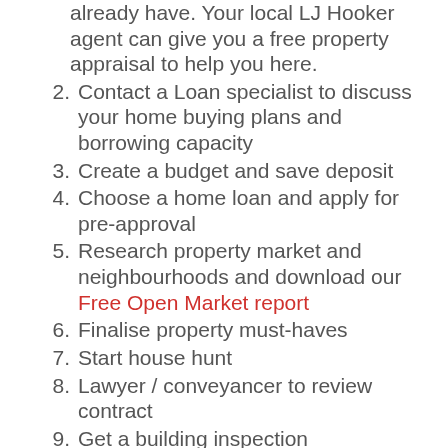already have. Your local LJ Hooker agent can give you a free property appraisal to help you here.
2. Contact a Loan specialist to discuss your home buying plans and borrowing capacity
3. Create a budget and save deposit
4. Choose a home loan and apply for pre-approval
5. Research property market and neighbourhoods and download our Free Open Market report
6. Finalise property must-haves
7. Start house hunt
8. Lawyer / conveyancer to review contract
9. Get a building inspection
10. Make offer or bid at auction
11. Sign contract and pay deposit
12. Arrange insurance
13. Process First Home Owner Grant